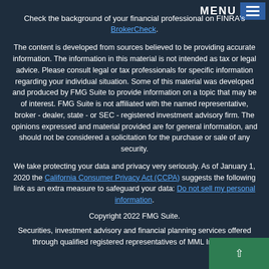MENU
Check the background of your financial professional on FINRA's BrokerCheck.
The content is developed from sources believed to be providing accurate information. The information in this material is not intended as tax or legal advice. Please consult legal or tax professionals for specific information regarding your individual situation. Some of this material was developed and produced by FMG Suite to provide information on a topic that may be of interest. FMG Suite is not affiliated with the named representative, broker - dealer, state - or SEC - registered investment advisory firm. The opinions expressed and material provided are for general information, and should not be considered a solicitation for the purchase or sale of any security.
We take protecting your data and privacy very seriously. As of January 1, 2020 the California Consumer Privacy Act (CCPA) suggests the following link as an extra measure to safeguard your data: Do not sell my personal information.
Copyright 2022 FMG Suite.
Securities, investment advisory and financial planning services offered through qualified registered representatives of MML Investors